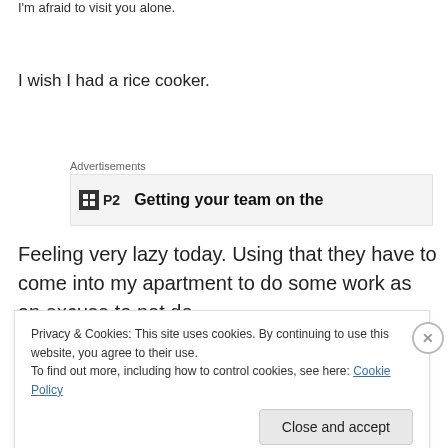I'm afraid to visit you alone.
I wish I had a rice cooker.
[Figure (screenshot): Advertisement banner showing P2 logo and text 'Getting your team on the...']
Feeling very lazy today. Using that they have to come into my apartment to do some work as an excuse to not do
Privacy & Cookies: This site uses cookies. By continuing to use this website, you agree to their use.
To find out more, including how to control cookies, see here: Cookie Policy
Close and accept